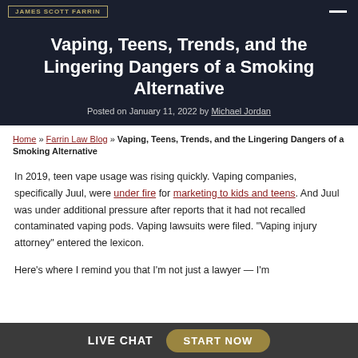JAMES SCOTT FARRIN
Vaping, Teens, Trends, and the Lingering Dangers of a Smoking Alternative
Posted on January 11, 2022 by Michael Jordan
Home » Farrin Law Blog » Vaping, Teens, Trends, and the Lingering Dangers of a Smoking Alternative
In 2019, teen vape usage was rising quickly. Vaping companies, specifically Juul, were under fire for marketing to kids and teens. And Juul was under additional pressure after reports that it had not recalled contaminated vaping pods. Vaping lawsuits were filed. "Vaping injury attorney" entered the lexicon.
Here's where I remind you that I'm not just a lawyer — I'm
LIVE CHAT   START NOW